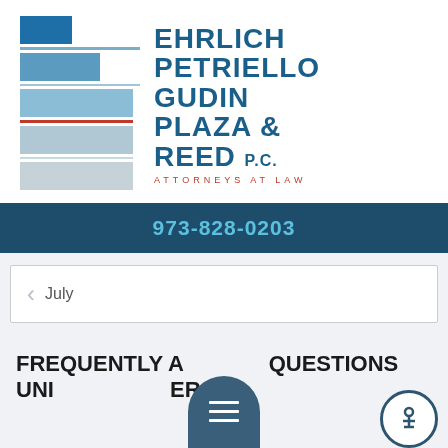[Figure (logo): Ehrlich Petriello Gudin Plaza & Reed P.C. Attorneys at Law law firm logo with stacked blue/grey bars and firm name in dark blue]
973-828-0203
July
FREQUENTLY ASKED QUESTIONS UNIT IRS